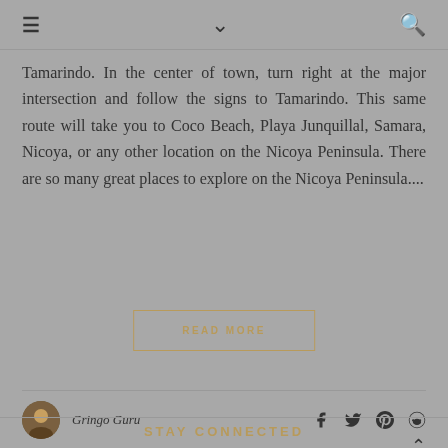≡  ∨  🔍
Tamarindo. In the center of town, turn right at the major intersection and follow the signs to Tamarindo. This same route will take you to Coco Beach, Playa Junquillal, Samara, Nicoya, or any other location on the Nicoya Peninsula. There are so many great places to explore on the Nicoya Peninsula....
READ MORE
Gringo Guru
STAY CONNECTED